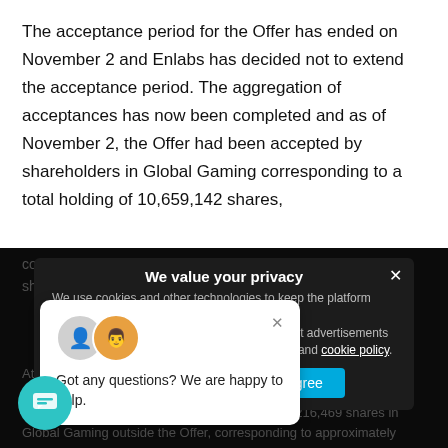The acceptance period for the Offer has ended on November 2 and Enlabs has decided not to extend the acceptance period. The aggregation of acceptances has now been completed and as of November 2, the Offer had been accepted by shareholders in Global Gaming corresponding to a total holding of 10,659,142 shares,
corresponding to approximately 26.1% of the total number of shares and votes in Global Gaming.
We value your privacy
We use cookies and other technologies to keep the platform secure, for your experience, Enlabs will thus be able to and present relevant advertisements to the Offer. as described in our privacy policy and cookie policy.
Got any questions? We are happy to help.
Privacy Preferences
I Agree
At the time of the announcement of the Offer, Enlabs ownership in Global Gaming amounted to 27,265,314 shares. During the acceptance period, Enlabs has also acquired 1,216,469 shares in Global Gaming outside the Offer, corresponding to approximately